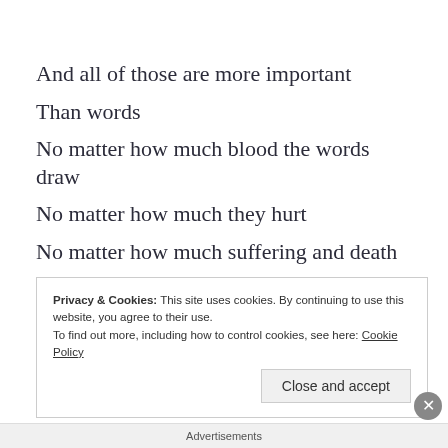And all of those are more important
Than words
No matter how much blood the words draw
No matter how much they hurt
No matter how much suffering and death
They may be connected to
Privacy & Cookies: This site uses cookies. By continuing to use this website, you agree to their use.
To find out more, including how to control cookies, see here: Cookie Policy
Advertisements